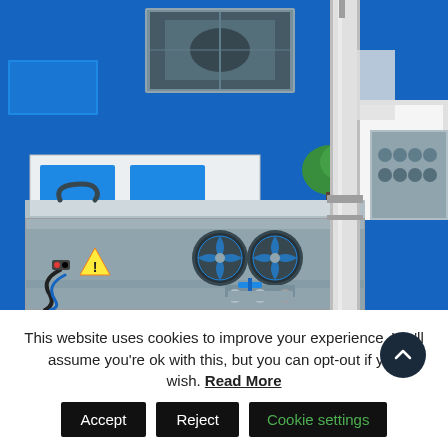[Figure (photo): Industrial engineering exhibition or showroom photo showing a stainless steel industrial machine (likely an ultrasonic cleaning or testing unit) with two blue cooling fans and a valve/fitting in the front panel, a vertical metal column/gantry, blue-themed display equipment in the background, a green topiary plant, and an engine block visible on the right side. The environment has a blue floor and blue backdrop with industrial machinery displays.]
This website uses cookies to improve your experience. We'll assume you're ok with this, but you can opt-out if you wish. Read More